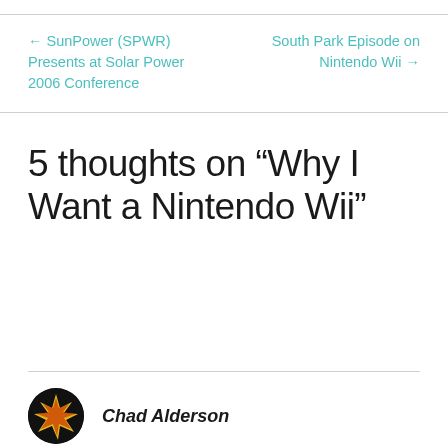← SunPower (SPWR) Presents at Solar Power 2006 Conference
South Park Episode on Nintendo Wii →
5 thoughts on “Why I Want a Nintendo Wii”
Chad Alderson